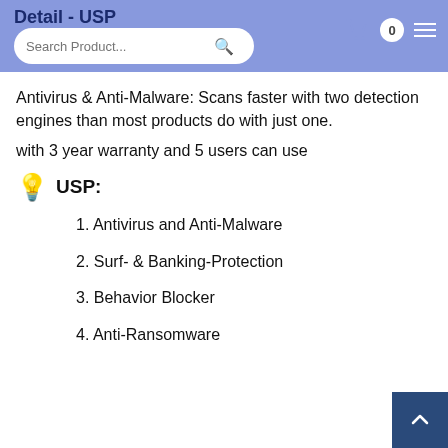Detail - USP
Antivirus & Anti-Malware: Scans faster with two detection engines than most products do with just one.
with 3 year warranty and 5 users can use
💡 USP:
1. Antivirus and Anti-Malware
2. Surf- & Banking-Protection
3. Behavior Blocker
4. Anti-Ransomware